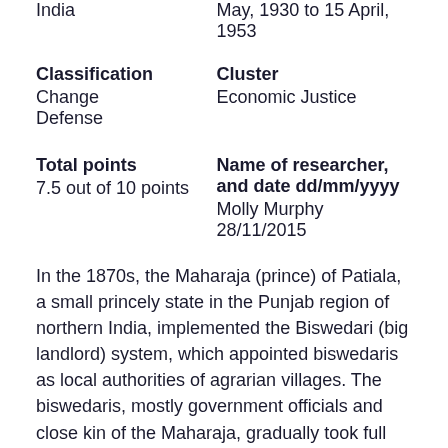India
May, 1930 to 15 April, 1953
Classification
Change
Defense
Cluster
Economic Justice
Total points
7.5 out of 10 points
Name of researcher, and date dd/mm/yyyy
Molly Murphy 28/11/2015
In the 1870s, the Maharaja (prince) of Patiala, a small princely state in the Punjab region of northern India, implemented the Biswedari (big landlord) system, which appointed biswedaris as local authorities of agrarian villages. The biswedaris, mostly government officials and close kin of the Maharaja, gradually took full possession of lands and reduced the original owners to the status of muzaras (tenants). Muzaras had to pay batai (share rent) to their landlords, consisting of half of their crop, though landlords often overestimated the crop yield to justify taking a larger share.
Indians march for Goan